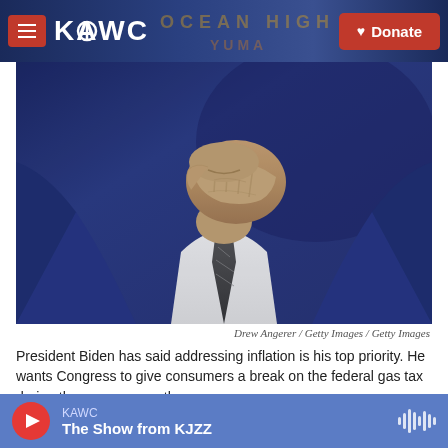KAWC | Donate
[Figure (photo): Close-up photo of President Biden in a dark suit, hand raised to his chin in a thoughtful pose]
Drew Angerer / Getty Images / Getty Images
President Biden has said addressing inflation is his top priority. He wants Congress to give consumers a break on the federal gas tax during the summer months.
Inflation is the biggest problem for
KAWC | The Show from KJZZ